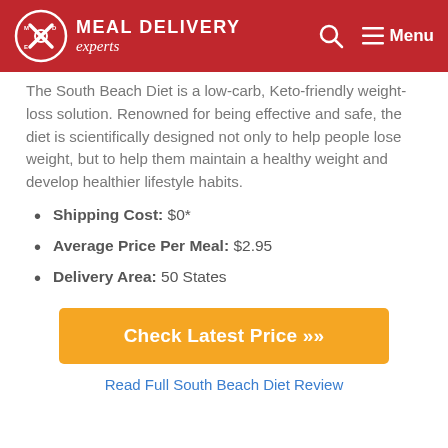MEAL DELIVERY experts
The South Beach Diet is a low-carb, Keto-friendly weight-loss solution. Renowned for being effective and safe, the diet is scientifically designed not only to help people lose weight, but to help them maintain a healthy weight and develop healthier lifestyle habits.
Shipping Cost: $0*
Average Price Per Meal: $2.95
Delivery Area: 50 States
Check Latest Price »
Read Full South Beach Diet Review